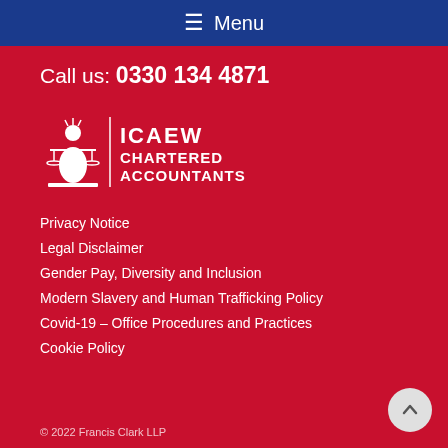≡ Menu
Call us: 0330 134 4871
[Figure (logo): ICAEW Chartered Accountants logo — white figure holding scales, with text ICAEW CHARTERED ACCOUNTANTS]
Privacy Notice
Legal Disclaimer
Gender Pay, Diversity and Inclusion
Modern Slavery and Human Trafficking Policy
Covid-19 – Office Procedures and Practices
Cookie Policy
© 2022 Francis Clark LLP